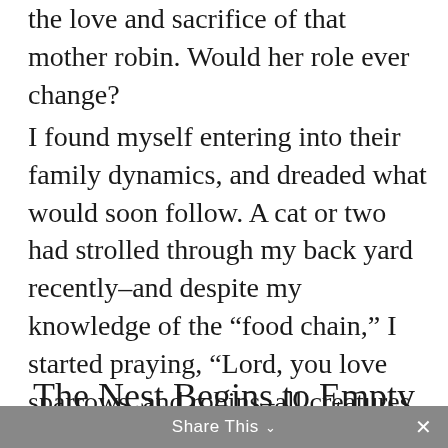the love and sacrifice of that mother robin. Would her role ever change?
I found myself entering into their family dynamics, and dreaded what would soon follow. A cat or two had strolled through my back yard recently–and despite my knowledge of the “food chain,” I started praying, “Lord, you love sparrows, and robins–all creatures. Protect those little ones!”
The Nest Begins to Empty
Then one day I was working in the
Share This